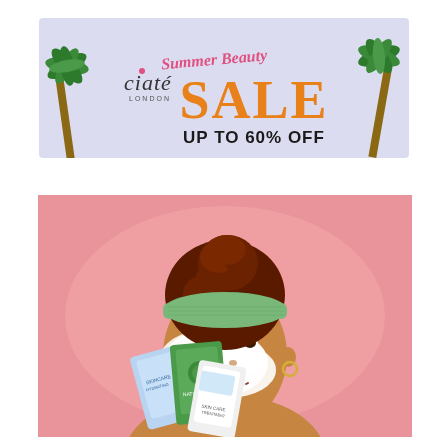[Figure (illustration): Ciaté London Summer Beauty Sale banner ad. Light lavender/blue background with palm trees on the left and right edges. Ciaté London logo on the left. Cursive pink text 'Summer Beauty' above large bold orange text 'SALE'. Bold black text 'UP TO 60% OFF' below.]
[Figure (photo): Woman with natural curly red hair in a high bun wearing a green terrycloth headband. Her face has white foam/face wash product applied. She holds up several skincare product pouches in front of her face. Pink background.]